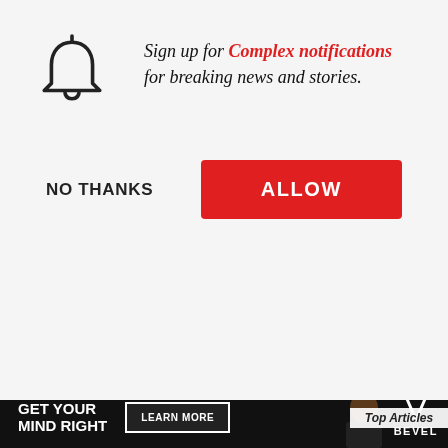[Figure (screenshot): Bell/notification icon (SVG outline of a bell)]
Sign up for Complex notifications for breaking news and stories.
NO THANKS
ALLOW
Top Articles
[Figure (photo): Background showing flowers on a dark surface, article photos, person smiling]
Image via FX
Logline: “I’ve defin… show. They’re always stealing ideas. But the fashion indu…
GET YOUR MIND RIGHT   LEARN MORE   BEVEL